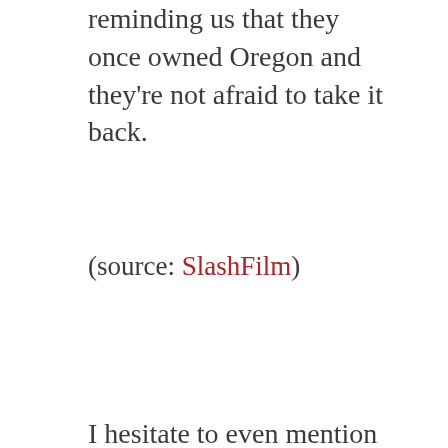reminding us that they once owned Oregon and they're not afraid to take it back.
(source: SlashFilm)
I hesitate to even mention